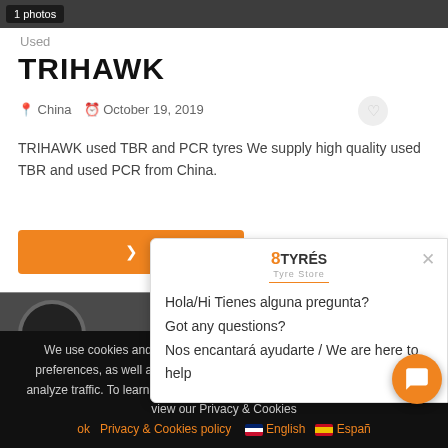[Figure (photo): Dark tire photo at top of page with '1 photos' label overlay]
Used
TRIHAWK
China   October 19, 2019
TRIHAWK used TBR and PCR tyres We supply high quality used TBR and used PCR from China.
[Figure (photo): Tire tread close-up thumbnail at bottom left]
[Figure (screenshot): Chat popup with 8TYRES logo, showing message: Hola/Hi Tienes alguna pregunta? Got any questions? Nos encantará ayudarte / We are here to help]
We use cookies and similar technologies to measure your visits and preferences, as well as to measure the effectiveness of campaigns and analyze traffic. To learn more about cookies including how to disable them, view our Privacy & Cookies
ok   Privacy & Cookies policy    English    Español